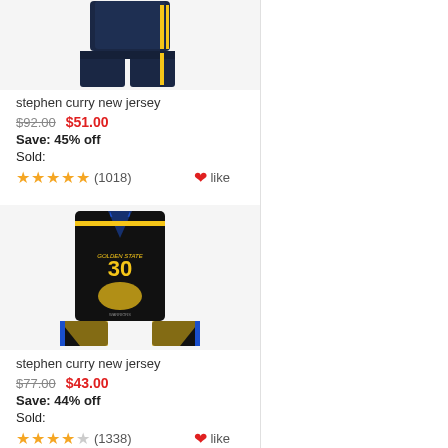[Figure (photo): Navy blue basketball jersey and shorts set (partial view, top cropped)]
stephen curry new jersey
$92.00  $51.00
Save: 45% off
Sold:
★★★★★ (1018)  ❤like
[Figure (photo): Black and gold Warriors #30 Stephen Curry basketball jersey and shorts set]
stephen curry new jersey
$77.00  $43.00
Save: 44% off
Sold:
★★★★☆ (1338)  ❤like